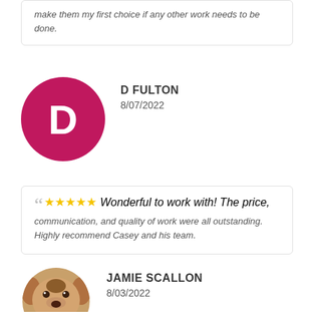make them my first choice if any other work needs to be done.
D FULTON
8/07/2022
[Figure (illustration): Circular avatar with letter D on dark pink/magenta background representing reviewer D Fulton]
★★★★★ Wonderful to work with! The price, communication, and quality of work were all outstanding. Highly recommend Casey and his team.
JAMIE SCALLON
8/03/2022
[Figure (photo): Circular profile photo showing top of a dog's head (appears to be a beagle or similar breed) representing reviewer Jamie Scallon]